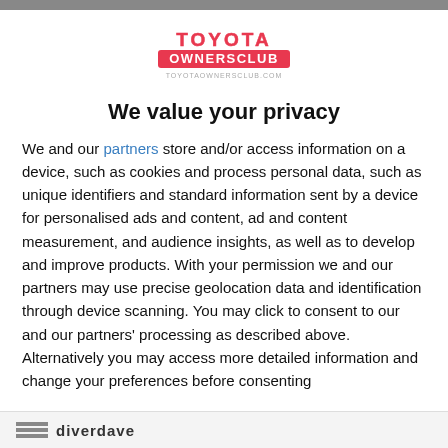[Figure (logo): Toyota Owners Club logo in red and white text]
We value your privacy
We and our partners store and/or access information on a device, such as cookies and process personal data, such as unique identifiers and standard information sent by a device for personalised ads and content, ad and content measurement, and audience insights, as well as to develop and improve products. With your permission we and our partners may use precise geolocation data and identification through device scanning. You may click to consent to our and our partners' processing as described above. Alternatively you may access more detailed information and change your preferences before consenting
AGREE
MORE OPTIONS
diverdave